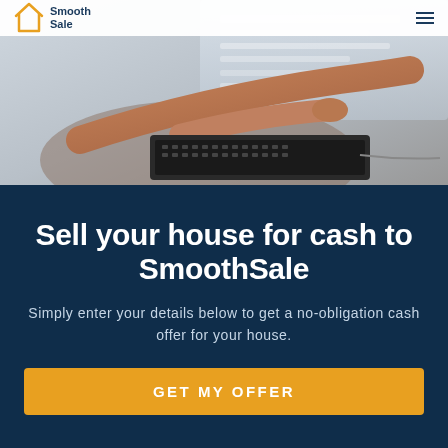Smooth Sale
[Figure (photo): Person sitting and using a laptop, viewed from the side, with a blurred screen background. Warm-toned photo.]
Sell your house for cash to SmoothSale
Simply enter your details below to get a no-obligation cash offer for your house.
GET MY OFFER